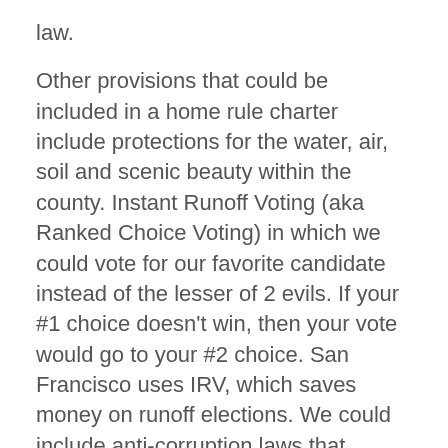law.
Other provisions that could be included in a home rule charter include protections for the water, air, soil and scenic beauty within the county. Instant Runoff Voting (aka Ranked Choice Voting) in which we could vote for our favorite candidate instead of the lesser of 2 evils. If your #1 choice doesn't win, then your vote would go to your #2 choice. San Francisco uses IRV, which saves money on runoff elections. We could include anti-corruption laws that prohibit donors outside the County from contributing to local candidates. Also, several of our local measures can be reiterated in the charter, strengthening their impact.